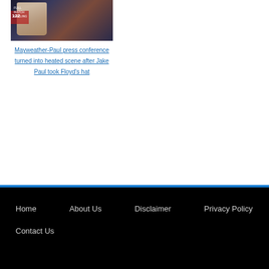[Figure (photo): Photo from Mayweather-Paul press conference showing people in a confrontational scene]
Mayweather-Paul press conference turned into heated scene after Jake Paul took Floyd's hat
Home   About Us   Disclaimer   Privacy Policy   Contact Us